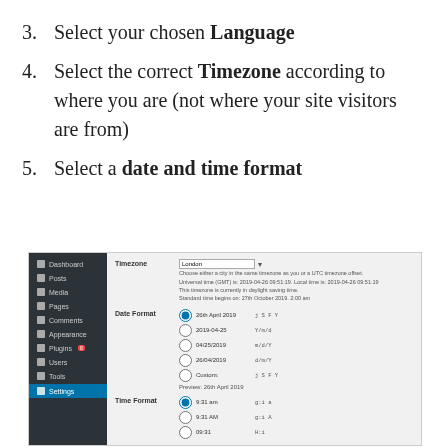3. Select your chosen Language
4. Select the correct Timezone according to where you are (not where your site visitors are from)
5. Select a date and time format
[Figure (screenshot): WordPress admin settings screenshot showing Timezone set to London with date and time format options including 26th April 2019, 2019-04-25, 04/25/2019, 25/04/2019, Custom, and Time Format options 9:31 am, 9:31 AM, 09:31]